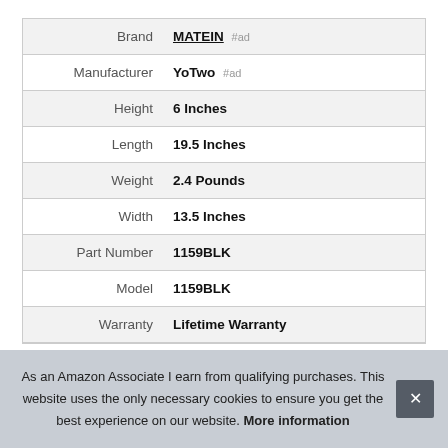| Attribute | Value |
| --- | --- |
| Brand | MATEIN #ad |
| Manufacturer | YoTwo #ad |
| Height | 6 Inches |
| Length | 19.5 Inches |
| Weight | 2.4 Pounds |
| Width | 13.5 Inches |
| Part Number | 1159BLK |
| Model | 1159BLK |
| Warranty | Lifetime Warranty |
As an Amazon Associate I earn from qualifying purchases. This website uses the only necessary cookies to ensure you get the best experience on our website. More information